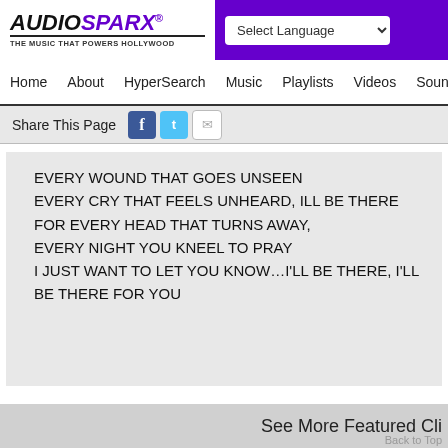[Figure (logo): AudioSparx logo with text 'THE MUSIC THAT POWERS HOLLYWOOD']
Select Language dropdown, purple header bar
Home   About   HyperSearch   Music   Playlists   Videos   Sound
Share This Page [Facebook icon] [Twitter icon] [Mail icon]
EVERY WOUND THAT GOES UNSEEN
EVERY CRY THAT FEELS UNHEARD, ILL BE THERE
FOR EVERY HEAD THAT TURNS AWAY,
EVERY NIGHT YOU KNEEL TO PRAY
I JUST WANT TO LET YOU KNOW…I'LL BE THERE, I'LL BE THERE FOR YOU
See More Featured Cli
Back to Top